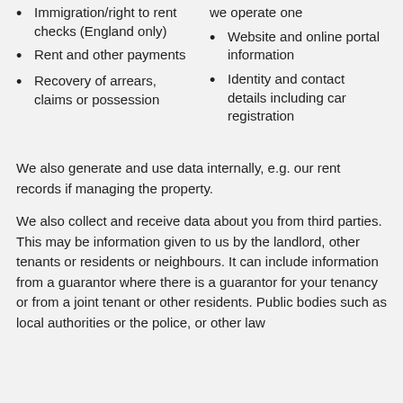Immigration/right to rent checks (England only)
Rent and other payments
Recovery of arrears, claims or possession
we operate one
Website and online portal information
Identity and contact details including car registration
We also generate and use data internally, e.g. our rent records if managing the property.
We also collect and receive data about you from third parties. This may be information given to us by the landlord, other tenants or residents or neighbours. It can include information from a guarantor where there is a guarantor for your tenancy or from a joint tenant or other residents. Public bodies such as local authorities or the police, or other law